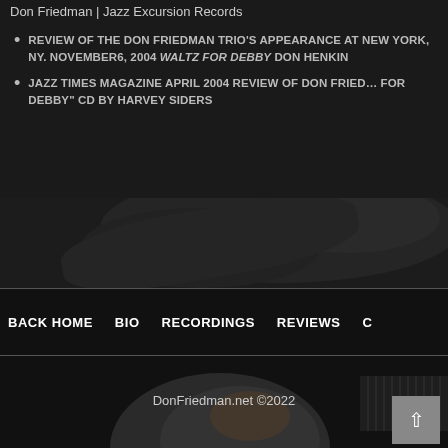Don Friedman | Jazz Excursion Records
REVIEW OF THE DON FRIEDMAN TRIO'S APPEARANCE AT NEW YORK, NY. NOVEMBER6, 2004 WALTZ FOR DEBBY DON HENKIN
JAZZ TIMES MAGAZINE APRIL 2004 REVIEW OF DON FRIED... FOR DEBBY" CD BY HARVEY SIDERS
[Figure (photo): Dark background photo section with shadowy fabric/clothing]
BACK HOME    BIO    RECORDINGS    REVIEWS    C
[Figure (photo): Dark background photo with back/side of bald man's head lit from behind]
DonFriedman.net ©2022